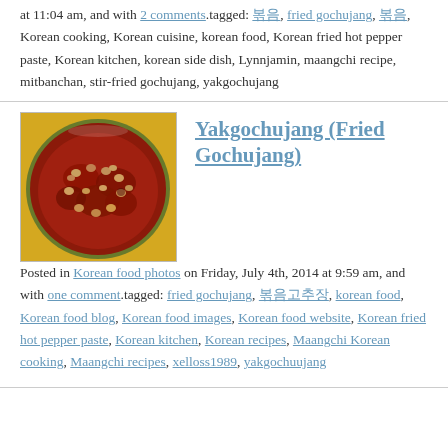at 11:04 am, and with 2 comments.tagged: 볶음, fried gochujang, 볶음, Korean cooking, Korean cuisine, korean food, Korean fried hot pepper paste, Korean kitchen, korean side dish, Lynnjamin, maangchi recipe, mitbanchan, stir-fried gochujang, yakgochujang
[Figure (photo): A round bowl/dish containing yakgochujang (fried gochujang), a red-brown fermented pepper paste with beans, placed on a yellow surface]
Yakgochujang (Fried Gochujang)
Posted in Korean food photos on Friday, July 4th, 2014 at 9:59 am, and with one comment.tagged: fried gochujang, 볶음고추장, korean food, Korean food blog, Korean food images, Korean food website, Korean fried hot pepper paste, Korean kitchen, Korean recipes, Maangchi Korean cooking, Maangchi recipes, xelloss1989, yakgochuujang